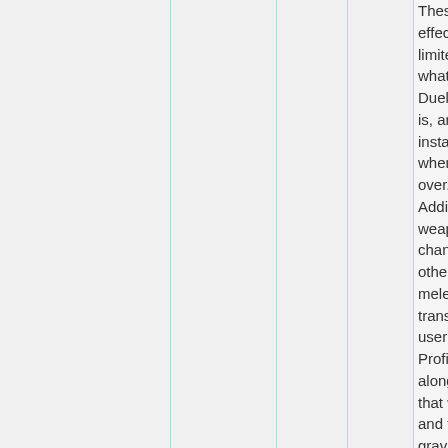These effects are limited to whatever Dueling A is, and will instantly r when the over. Additionally, weapon c change in other type melee we translating user's Proficienc along with that weap and finally gravity ca